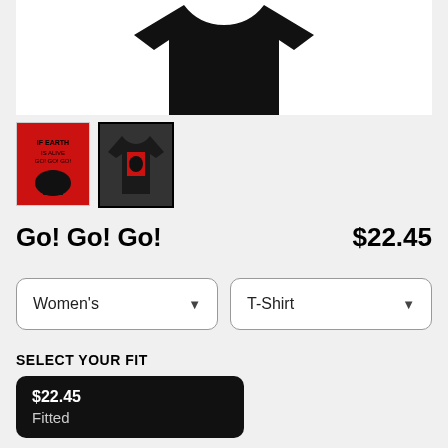[Figure (photo): Black t-shirt product image shown from above on white background]
[Figure (photo): Two product thumbnails: red poster design and black t-shirt on dark background]
Go! Go! Go!
$22.45
Women's (dropdown)
T-Shirt (dropdown)
SELECT YOUR FIT
$22.45 Fitted